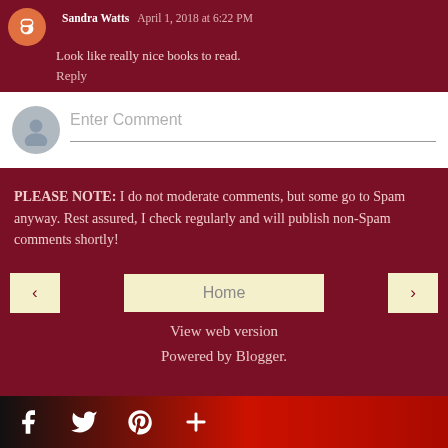Sandra Watts April 1, 2018 at 6:22 PM
Look like really nice books to read.
Reply
Enter Comment
PLEASE NOTE: I do not moderate comments, but some go to Spam anyway. Rest assured, I check regularly and will publish non-Spam comments shortly!
Home
View web version
Powered by Blogger.
[Figure (illustration): Social media icons bar at bottom: Facebook (f), Twitter (bird), Pinterest (P), Plus (+) on dark red/black gradient background]